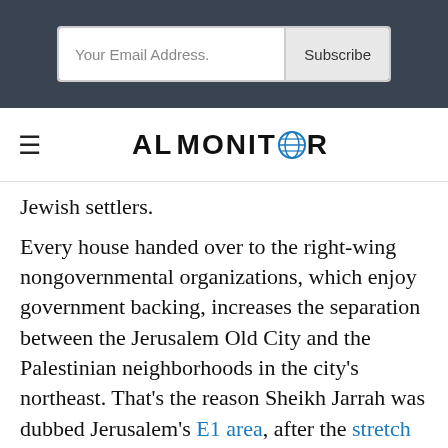[Figure (screenshot): Email subscription form with 'Your Email Address.' placeholder text and a 'Subscribe' button on a dark gray/navy background]
AL-MONITOR
Jewish settlers.
Every house handed over to the right-wing nongovernmental organizations, which enjoy government backing, increases the separation between the Jerusalem Old City and the Palestinian neighborhoods in the city's northeast. That's the reason Sheikh Jarrah was dubbed Jerusalem's E1 area, after the stretch of land that lies between Jerusalem and the settlement town of Maale Adumim. E1 is designed to further cut off East Jerusalem from